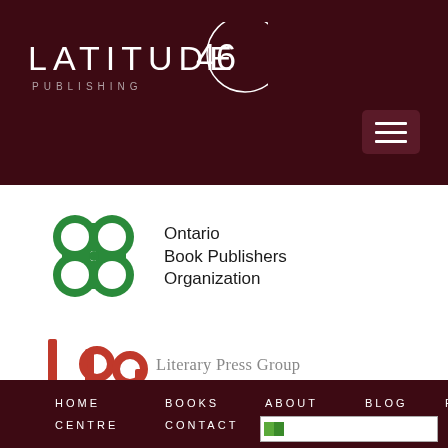[Figure (logo): Latitude 46 Publishing logo - white text on dark maroon background with circular design]
[Figure (illustration): Hamburger menu icon - three white horizontal lines on dark red/maroon rounded rectangle button]
[Figure (logo): Ontario Book Publishers Organization logo - green interlocking circles/bubbles graphic with text 'Ontario Book Publishers Organization']
[Figure (logo): Literary Press Group of Canada logo - stylized red 'lpg' letters with text 'Literary Press Group of Canada' in grey]
HOME   BOOKS   ABOUT   BLOG   REVIEWS
CENTRE   CONTACT
[Figure (illustration): Small image placeholder with flag icon at bottom of page]